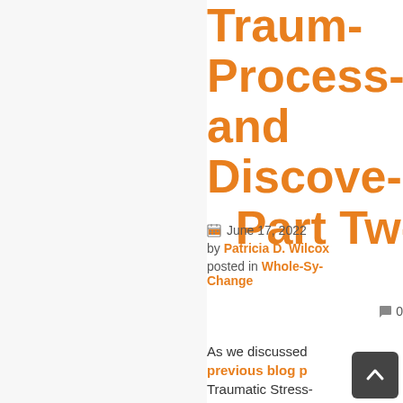Traum... Process... and Discove... - Part Tw...
June 17, 2022
by Patricia D. Wilcox
posted in Whole-Sy... Change
0
As we discussed previous blog p... Traumatic Stress... Institute... while our eve...